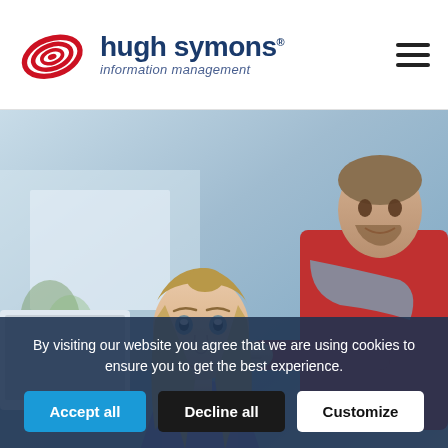[Figure (logo): Hugh Symons Information Management logo with red spiral/oval graphic and dark blue text]
[Figure (photo): Office scene with two people: a woman with long blonde hair looking upward while seated, and a man in a red sweater with grey scarf pointing, in a modern office environment]
By visiting our website you agree that we are using cookies to ensure you to get the best experience.
Accept all
Decline all
Customize